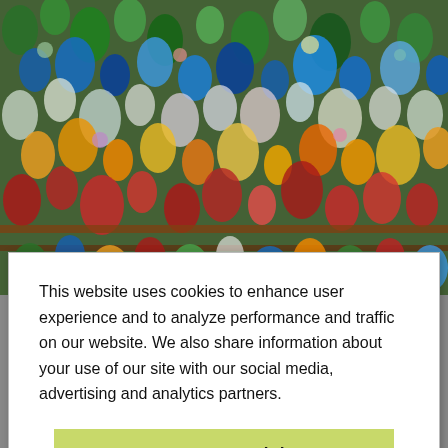[Figure (photo): A large pile of compressed, colorful plastic bottles and containers — green, blue, yellow, red, clear — stacked tightly together in a recycling bale, with metal support bars visible.]
This website uses cookies to enhance user experience and to analyze performance and traffic on our website. We also share information about your use of our site with our social media, advertising and analytics partners.
Accept Cookies
Do Not Sell My Personal Information